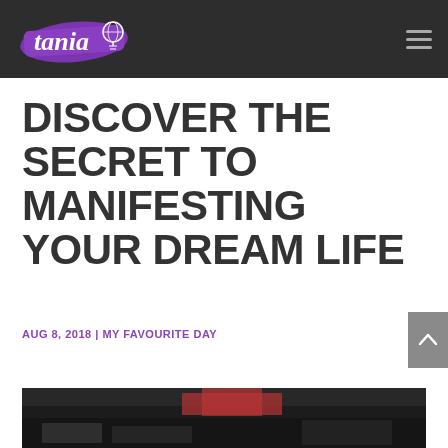tania [logo] [hamburger menu]
DISCOVER THE SECRET TO MANIFESTING YOUR DREAM LIFE
AUG 8, 2018 | MY FAVOURITE DAY
[Figure (photo): Partial photo of a dark scene, partially visible at the bottom of the page]